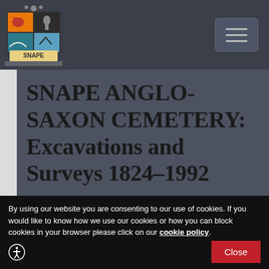SNAPE website header with logo and navigation hamburger menu
SNAPE ANGLO-SAXON CEMETERY: Excavations and Surveys 1824–1992
By using our website you are consenting to our use of cookies. If you would like to know how we use our cookies or how you can block cookies in your browser please click on our cookie policy.